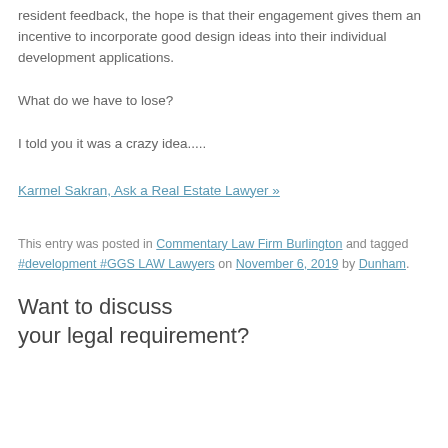resident feedback, the hope is that their engagement gives them an incentive to incorporate good design ideas into their individual development applications.
What do we have to lose?
I told you it was a crazy idea.....
Karmel Sakran, Ask a Real Estate Lawyer »
This entry was posted in Commentary Law Firm Burlington and tagged #development #GGS LAW Lawyers on November 6, 2019 by Dunham.
Want to discuss your legal requirement?